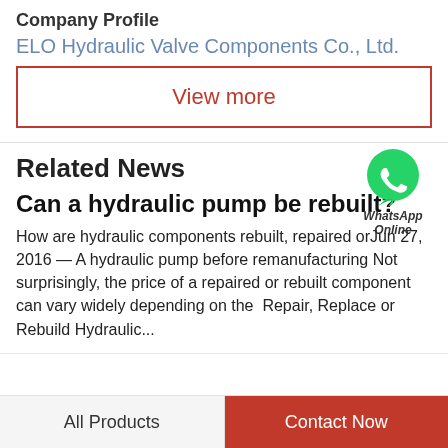Company Profile
ELO Hydraulic Valve Components Co., Ltd.
View more
Related News
[Figure (logo): WhatsApp green circle icon with phone handset, labeled 'WhatsApp Online']
Can a hydraulic pump be rebuilt?
How are hydraulic components rebuilt, repaired orJun 27, 2016 — A hydraulic pump before remanufacturing Not surprisingly, the price of a repaired or rebuilt component can vary widely depending on the  Repair, Replace or Rebuild Hydraulic...
All Products   Contact Now